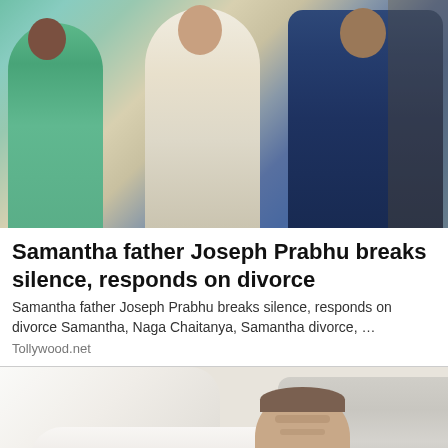[Figure (photo): Group photo of people at what appears to be a wedding or formal event. A woman in a green/teal saree on the left, a woman in white in the center, and a man in a dark navy suit on the right.]
Samantha father Joseph Prabhu breaks silence, responds on divorce
Samantha father Joseph Prabhu breaks silence, responds on divorce Samantha, Naga Chaitanya, Samantha divorce, …
Tollywood.net
[Figure (photo): A person lying in bed with eyes closed, covered with white bedding, resting on white pillows.]